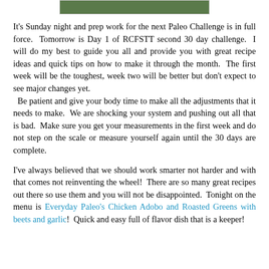[Figure (photo): Partial image strip at top of page showing food or greens]
It's Sunday night and prep work for the next Paleo Challenge is in full force.  Tomorrow is Day 1 of RCFSTT second 30 day challenge.  I will do my best to guide you all and provide you with great recipe ideas and quick tips on how to make it through the month.  The first week will be the toughest, week two will be better but don't expect to see major changes yet.   Be patient and give your body time to make all the adjustments that it needs to make.  We are shocking your system and pushing out all that is bad.  Make sure you get your measurements in the first week and do not step on the scale or measure yourself again until the 30 days are complete.
I've always believed that we should work smarter not harder and with that comes not reinventing the wheel!  There are so many great recipes out there so use them and you will not be disappointed.  Tonight on the menu is Everyday Paleo's Chicken Adobo and Roasted Greens with beets and garlic!  Quick and easy full of flavor dish that is a keeper!